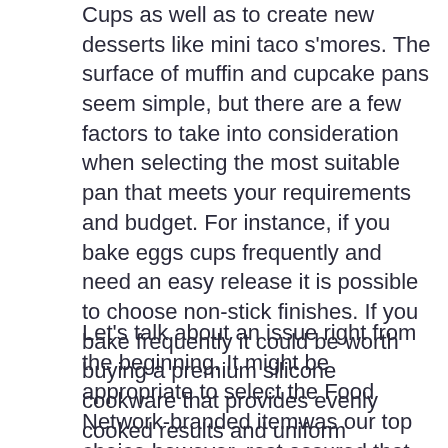Cups as well as to create new desserts like mini taco s'mores. The surface of muffin and cupcake pans seem simple, but there are a few factors to take into consideration when selecting the most suitable pan that meets your requirements and budget. For instance, if you bake eggs cups frequently and need an easy release it is possible to choose non-stick finishes. If you bake frequently it could be worth buying a premium silicone cookware that provides evenly cooked results and uniform browning.
Let's talk about an issue right from the beginning. It might be appropriate to select the Food Network-branded itemwas our top choice however, rest assured that we used the same rigorous assessment that all our product tests are subject to. We tested 10 muffin and cupcake pans that came in various dimensions and materials, ranging